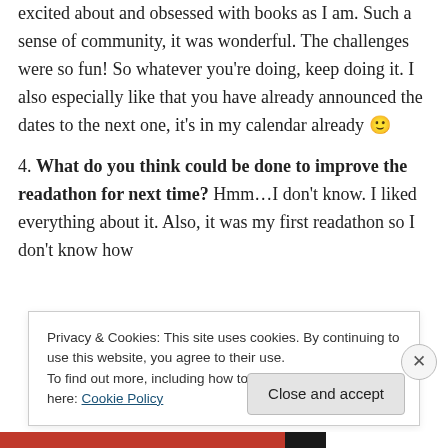excited about and obsessed with books as I am. Such a sense of community, it was wonderful. The challenges were so fun! So whatever you're doing, keep doing it. I also especially like that you have already announced the dates to the next one, it's in my calendar already 🙂
4. What do you think could be done to improve the readathon for next time? Hmm…I don't know. I liked everything about it. Also, it was my first readathon so I don't know how
Privacy & Cookies: This site uses cookies. By continuing to use this website, you agree to their use.
To find out more, including how to control cookies, see here: Cookie Policy